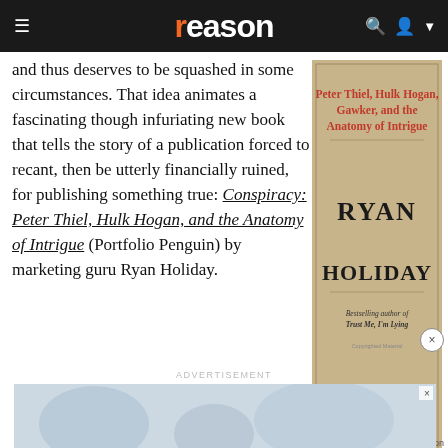reason
and thus deserves to be squashed in some circumstances. That idea animates a fascinating though infuriating new book that tells the story of a publication forced to recant, then be utterly financially ruined, for publishing something true: Conspiracy: Peter Thiel, Hulk Hogan, and the Anatomy of Intrigue (Portfolio Penguin) by marketing guru Ryan Holiday.
[Figure (illustration): Book cover for 'Conspiracy: Peter Thiel, Hulk Hogan, Gawker, and the Anatomy of Intrigue' by Ryan Holiday. Beige/tan background with red bold title text at top and large serif RYAN HOLIDAY author name. Subtitle: Bestselling author of Trust Me, I'm Lying.]
Amazon
[Figure (photo): Partially visible advertisement image showing blurred figures on a light blue background.]